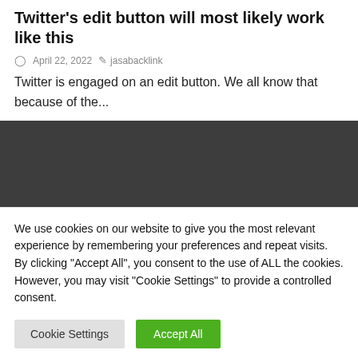Twitter's edit button will most likely work like this
April 22, 2022  jasabacklink
Twitter is engaged on an edit button. We all know that because of the...
[Figure (other): Dark grey rectangular banner/advertisement placeholder]
We use cookies on our website to give you the most relevant experience by remembering your preferences and repeat visits. By clicking "Accept All", you consent to the use of ALL the cookies. However, you may visit "Cookie Settings" to provide a controlled consent.
Cookie Settings  Accept All